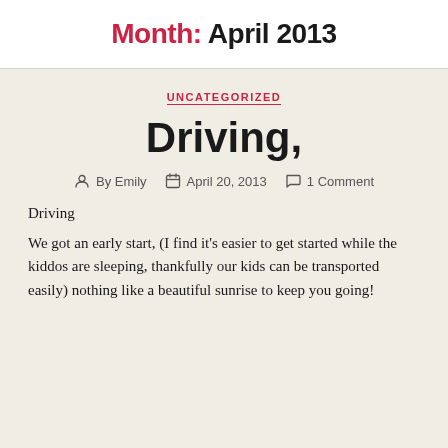Month: April 2013
UNCATEGORIZED
Driving,
By Emily   April 20, 2013   1 Comment
Driving
We got an early start, (I find it’s easier to get started while the kiddos are sleeping, thankfully our kids can be transported easily) nothing like a beautiful sunrise to keep you going!